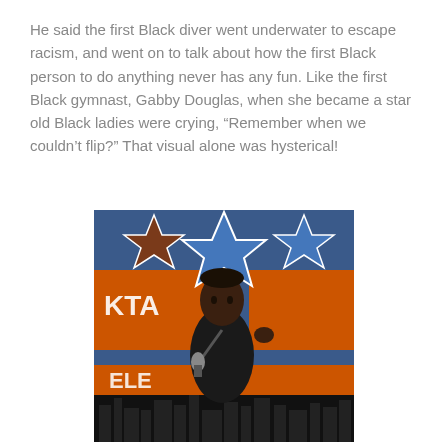He said the first Black diver went underwater to escape racism, and went on to talk about how the first Black person to do anything never has any fun. Like the first Black gymnast, Gabby Douglas, when she became a star old Black ladies were crying, “Remember when we couldn’t flip?” That visual alone was hysterical!
[Figure (photo): A man performing stand-up comedy on stage, holding a microphone, wearing a dark suit jacket, in front of a colorful backdrop with large stars and orange text.]